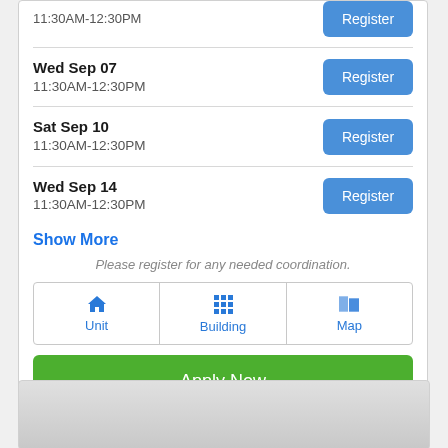11:30AM-12:30PM
Wed Sep 07
11:30AM-12:30PM
Sat Sep 10
11:30AM-12:30PM
Wed Sep 14
11:30AM-12:30PM
Show More
Please register for any needed coordination.
[Figure (other): Three icon buttons: Unit (house icon), Building (grid icon), Map (map icon)]
Apply Now
[Figure (other): Bottom card area with grey gradient background]